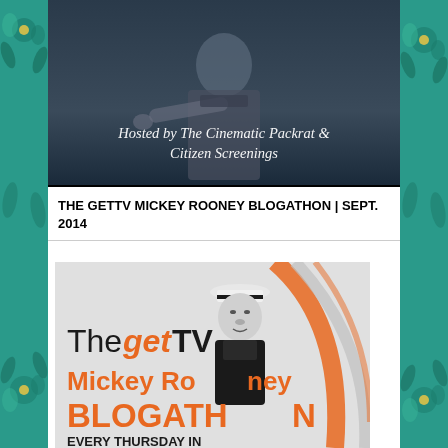[Figure (photo): Black and white photo of a military/soldier figure in uniform pointing toward camera, with overlaid text reading 'Hosted by The Cinematic Packrat & Citizen Screenings' in white serif italic font]
THE GETTV MICKEY ROONEY BLOGATHON | SEPT. 2014
[Figure (infographic): Promotional graphic for 'The getTV Mickey Rooney BLOGATHON' featuring a black and white photo of Mickey Rooney in a sailor hat, with orange and gray curved design elements. Text reads 'The get TV Mickey Rooney BLOGATHON EVERY THURSDAY IN' in orange and black typography on light gray background.]